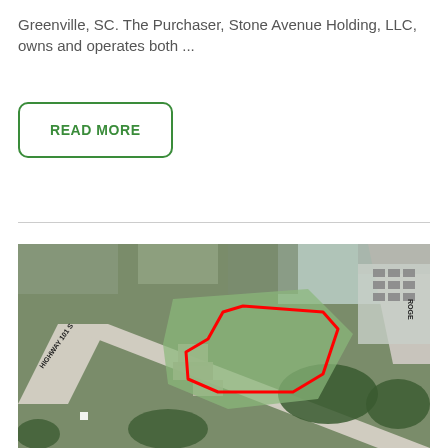Greenville, SC. The Purchaser, Stone Avenue Holding, LLC, owns and operates both ...
READ MORE
[Figure (photo): Aerial satellite view of a parcel of land outlined in red near Highway 101 S, showing surrounding roads, buildings, and vegetation. A red polygon marks the property boundary.]